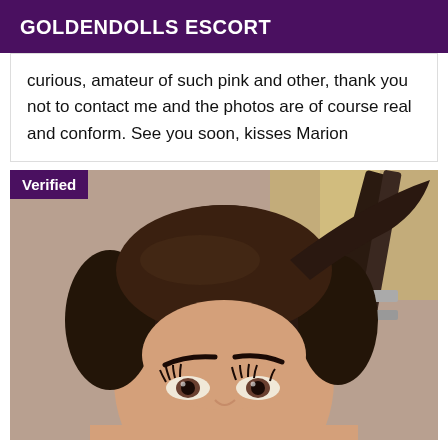GOLDENDOLLS ESCORT
curious, amateur of such pink and other, thank you not to contact me and the photos are of course real and conform. See you soon, kisses Marion
[Figure (photo): Close-up photo of a woman with dark brown hair pulled back in a ponytail, looking directly at the camera. A 'Verified' badge appears in the upper-left corner of the image.]